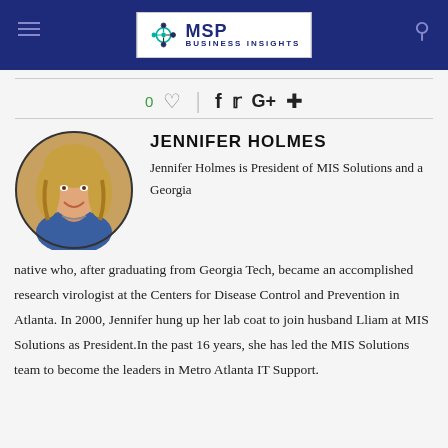[Figure (logo): MSP Business Insights logo with network/atom icon in navy blue header bar]
0 ♡  |  f  𝕏  G+   pinterest
JENNIFER HOLMES
[Figure (photo): Headshot photo of Jennifer Holmes, a blonde woman smiling, wearing a blue top]
Jennifer Holmes is President of MIS Solutions and a Georgia native who, after graduating from Georgia Tech, became an accomplished research virologist at the Centers for Disease Control and Prevention in Atlanta. In 2000, Jennifer hung up her lab coat to join husband Lliam at MIS Solutions as President.In the past 16 years, she has led the MIS Solutions team to become the leaders in Metro Atlanta IT Support.